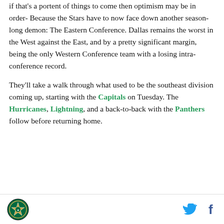if that's a portent of things to come then optimism may be in order- Because the Stars have to now face down another season-long demon: The Eastern Conference. Dallas remains the worst in the West against the East, and by a pretty significant margin, being the only Western Conference team with a losing intra-conference record.
They'll take a walk through what used to be the southeast division coming up, starting with the Capitals on Tuesday. The Hurricanes, Lightning, and a back-to-back with the Panthers follow before returning home.
[Dallas Stars logo] [Twitter icon] [Facebook icon]